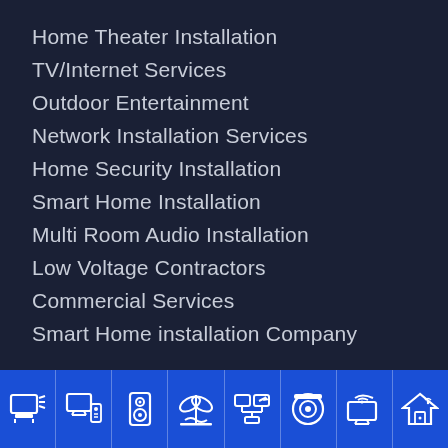Home Theater Installation
TV/Internet Services
Outdoor Entertainment
Network Installation Services
Home Security Installation
Smart Home Installation
Multi Room Audio Installation
Low Voltage Contractors
Commercial Services
Smart Home installation Company
[Figure (infographic): Blue footer bar with 8 white icons representing: TV/home theater, smart TV with remote, speaker/audio, outdoor/beach, network/computers, security camera, wifi TV, smart home]